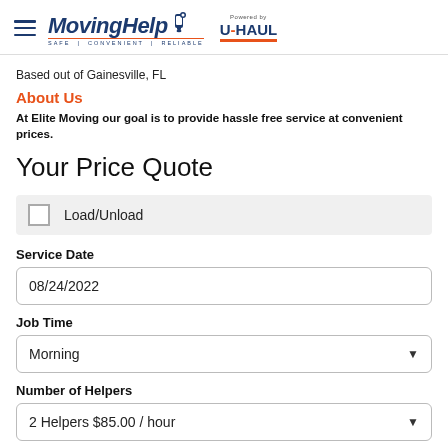MovingHelp — Safe | Convenient | Reliable — Powered by U-HAUL
Based out of Gainesville, FL
About Us
At Elite Moving our goal is to provide hassle free service at convenient prices.
Your Price Quote
Load/Unload
Service Date
08/24/2022
Job Time
Morning
Number of Helpers
2 Helpers $85.00 / hour